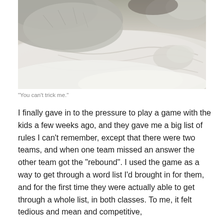[Figure (photo): Close-up photo of a fluffy white/grey dog lying on a white fluffy blanket or towel, with the dog's fur and paw visible.]
“You can’t trick me.”
I finally gave in to the pressure to play a game with the kids a few weeks ago, and they gave me a big list of rules I can’t remember, except that there were two teams, and when one team missed an answer the other team got the “rebound”. I used the game as a way to get through a word list I’d brought in for them, and for the first time they were actually able to get through a whole list, in both classes. To me, it felt tedious and mean and competitive,